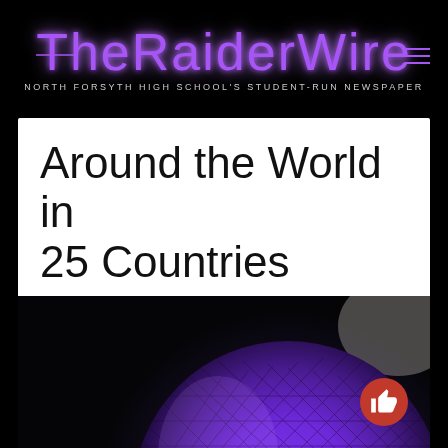TheRaiderWire — NORTH FORSYTH HIGH SCHOOL'S STUDENT-RUN NEWSPAPER
Around the World in 25 Countries
[Figure (photo): Epcot's Spaceship Earth geodesic sphere illuminated in purple/blue light against a dark background]